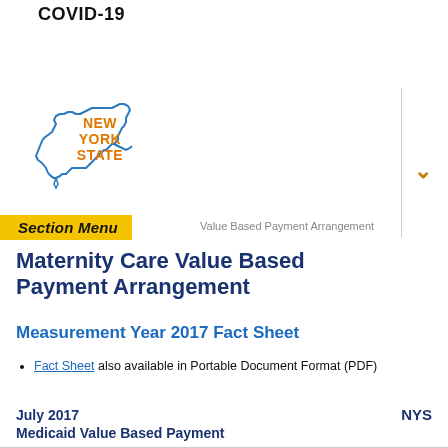COVID-19
[Figure (logo): New York State logo with outline of New York State shape in blue and 'NEW YORK STATE' text in orange/yellow]
Section Menu
Value Based Payment Arrangement
Maternity Care Value Based Payment Arrangement
Measurement Year 2017 Fact Sheet
Fact Sheet also available in Portable Document Format (PDF)
July 2017
Medicaid Value Based Payment
NYS